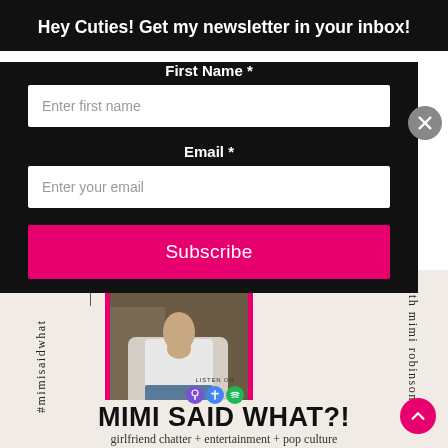Hey Cuties! Get my newsletter in your inbox!
First Name *
Enter first name
Email *
Enter your email
Subscribe
[Figure (infographic): Podcast promotional graphic for 'Mimi Said What?!' with a woman in a white t-shirt and cardigan, pink border, hashtag #mimisaidwhat on the left, 'with mimi robinson' on the right, and podcast platform icons (LISTEN ON badges). Below: bold title 'MIMI SAID WHAT?!' and subtitle 'girlfriend chatter + entertainment + pop culture']
MIMI SAID WHAT?!
girlfriend chatter + entertainment + pop culture